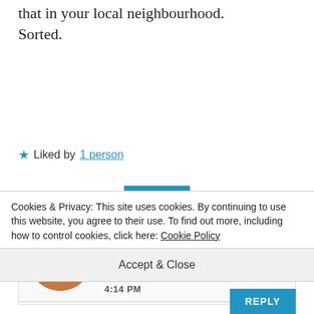that in your local neighbourhood. Sorted.
★ Liked by 1 person
REPLY
[Figure (photo): Circular avatar photo of a person with reddish-brown hair, showing only the upper part of the face (eyes and forehead), against a warm orange-brown background.]
House of Heart
DECEMBER 20, 2018 AT 4:14 PM
Cookies & Privacy: This site uses cookies. By continuing to use this website, you agree to their use. To find out more, including how to control cookies, click here: Cookie Policy
Accept & Close
REPLY